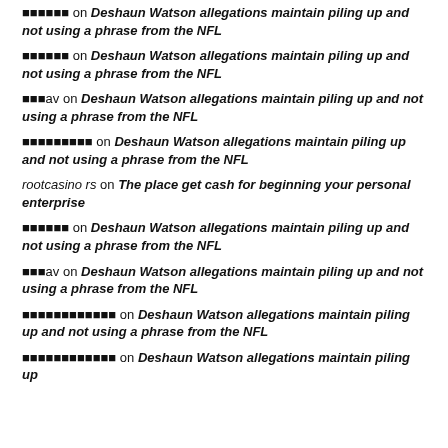[tobox] on Deshaun Watson allegations maintain piling up and not using a phrase from the NFL
[characters] on Deshaun Watson allegations maintain piling up and not using a phrase from the NFL
[characters]av on Deshaun Watson allegations maintain piling up and not using a phrase from the NFL
[characters] on Deshaun Watson allegations maintain piling up and not using a phrase from the NFL
rootcasino rs on The place get cash for beginning your personal enterprise
[characters] on Deshaun Watson allegations maintain piling up and not using a phrase from the NFL
[characters]av on Deshaun Watson allegations maintain piling up and not using a phrase from the NFL
[characters] on Deshaun Watson allegations maintain piling up and not using a phrase from the NFL
[characters] on Deshaun Watson allegations maintain piling up